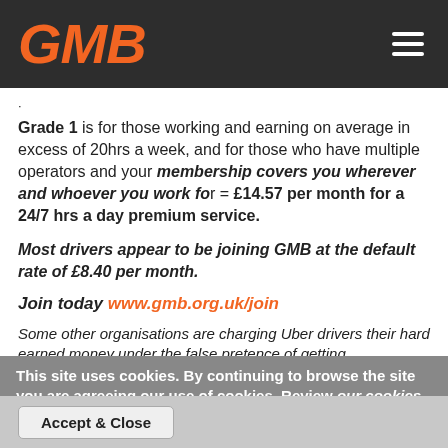GMB
Grade 1 is for those working and earning on average in excess of 20hrs a week, and for those who have multiple operators and your membership covers you wherever and whoever you work for = £14.57 per month for a 24/7 hrs a day premium service.
Most drivers appear to be joining GMB at the default rate of £8.40 per month.
Join today www.gmb.org.uk/join
Some other organisations are charging Uber drivers their hard earned money under the false pretence of getting
This site uses cookies. By continuing to browse the site you are agreeing our use of cookies. Review our cookies policy for more information.
Accept & Close